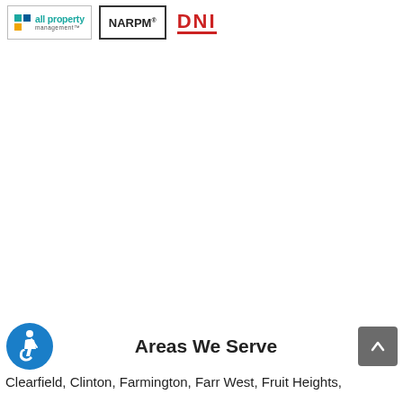[Figure (logo): All Property Management logo with teal, blue, and yellow squares and text]
[Figure (logo): NARPM logo in bold black text with registered trademark symbol, inside a bordered box]
[Figure (logo): DNI logo in red bold text with underline]
Areas We Serve
Clearfield, Clinton, Farmington, Farr West, Fruit Heights,